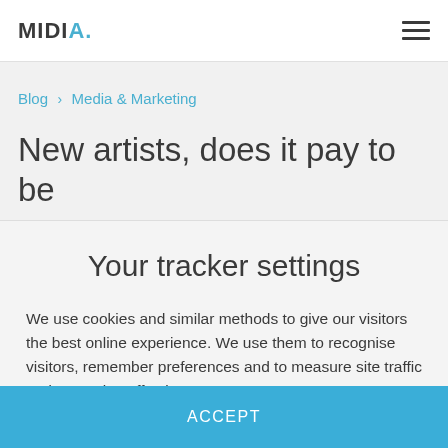MIDIA. [hamburger menu icon]
Blog > Media & Marketing
New artists, does it pay to be
Your tracker settings
We use cookies and similar methods to give our visitors the best online experience. We use them to recognise visitors, remember preferences and to measure site traffic and campaign effectiveness.
ACCEPT